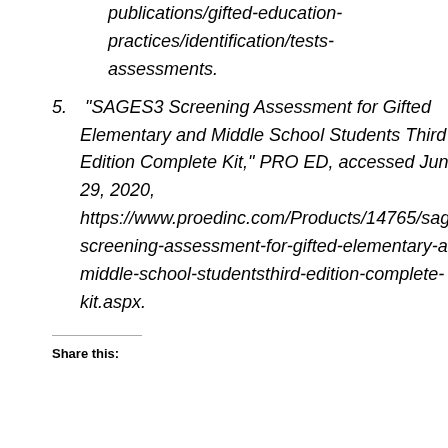publications/gifted-education-practices/identification/tests-assessments.
5. “SAGES3 Screening Assessment for Gifted Elementary and Middle School Students Third Edition Complete Kit,” PRO ED, accessed June 29, 2020, https://www.proedinc.com/Products/14765/sages3-screening-assessment-for-gifted-elementary-and-middle-school-studentsthird-edition-complete-kit.aspx.
Share this: